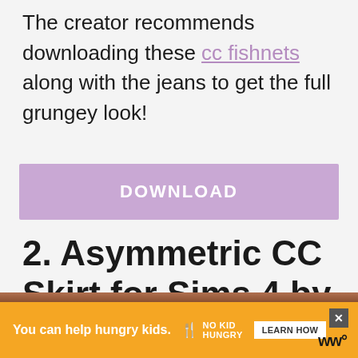The creator recommends downloading these cc fishnets along with the jeans to get the full grungey look!
[Figure (other): Purple/mauve download button with white text reading DOWNLOAD]
2. Asymmetric CC Skirt for Sims 4 by Trillyke
[Figure (other): Orange advertisement bar: 'You can help hungry kids.' with No Kid Hungry logo and LEARN HOW button, close X button, and ww logo]